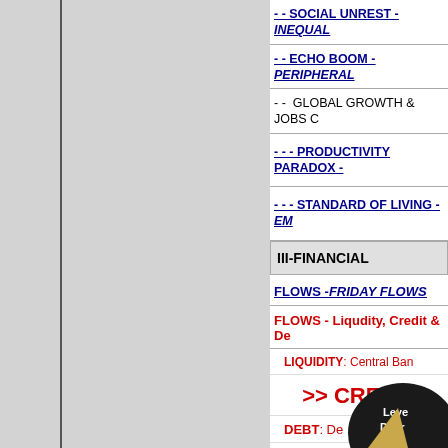[Figure (other): Gray left panel area with vertical border lines]
- - SOCIAL UNREST - INEQUAL...
- - ECHO BOOM - PERIPHERAL...
- -  GLOBAL GROWTH & JOBS C...
- - - PRODUCTIVITY PARADOX -...
- - - STANDARD OF LIVING - EM...
III-FINANCIAL
FLOWS - FRIDAY FLOWS
FLOWS - Liqudity, Credit & De...
LIQUIDITY: Central Ban...
>> CREDIT
DEBT: De...
[Figure (illustration): Dark circular graphic with text 'Leve... Decr...' partially visible at bottom right]